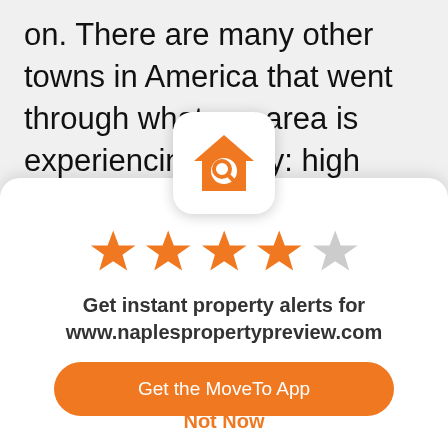on. There are many other towns in America that went through what our area is experiencing today: high demand and low supply. Naples has become a desirable place to live and until there's a shift in
[Figure (logo): Orange house icon with magnifying glass — MoveTo app logo]
[Figure (other): 4 out of 5 star rating shown with orange filled stars and one grey star]
Get instant property alerts for www.naplespropertypreview.com
Get the MoveTo App
Not Now